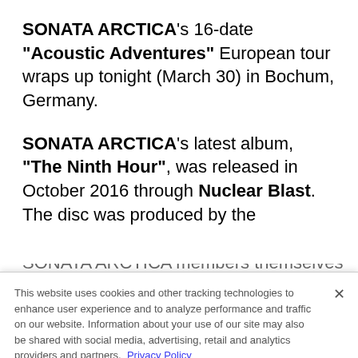SONATA ARCTICA's 16-date "Acoustic Adventures" European tour wraps up tonight (March 30) in Bochum, Germany.
SONATA ARCTICA's latest album, "The Ninth Hour", was released in October 2016 through Nuclear Blast. The disc was produced by the SONATA ARCTICA members themselves and
This website uses cookies and other tracking technologies to enhance user experience and to analyze performance and traffic on our website. Information about your use of our site may also be shared with social media, advertising, retail and analytics providers and partners. Privacy Policy
Removing Moles & Skin Tags Has Never Been
n/a